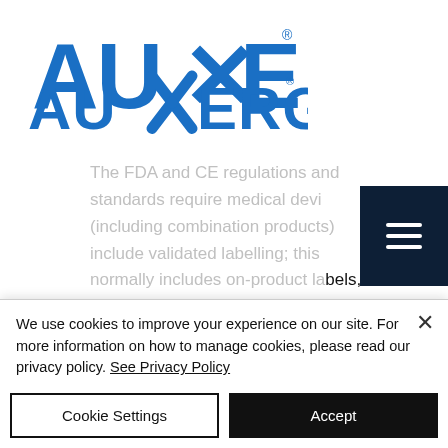[Figure (logo): AUXERGO logo in blue text]
The FDA and CE regulations and standards require medical devices (including combination products) to include validated labelling; this normally includes on-product labels, instructions for use, and packaging. Poorly designed labelling can cause use errors and risks even if the device's physical and/or computer-
We use cookies to improve your experience on our site. For more information on how to manage cookies, please read our privacy policy. See Privacy Policy
Cookie Settings
Accept